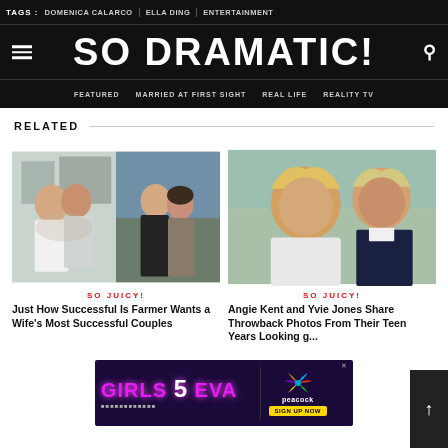SO DRAMATIC!
TAGS : DOMENICA CALARCO | ELLA DING | ENTERTAINMENT
FEATURED | MARRIED AT FIRST SIGHT | REAL LIFE | REALITY TV
RELATED
SO JUICY!
[Figure (photo): Two photos side by side: left shows a smiling couple hugging (man in white shirt), right shows a young couple posing together indoors]
Just How Successful Is Farmer Wants a Wife's Most Successful Couples
SO JUICY!
[Figure (photo): Selfie of two blonde women smiling outdoors]
Angie Kent and Yvie Jones Share Throwback Photos From Their Teen Years Looking g...
[Figure (infographic): Advertisement banner for Girls5eva on Peacock - SIGN UP NOW]